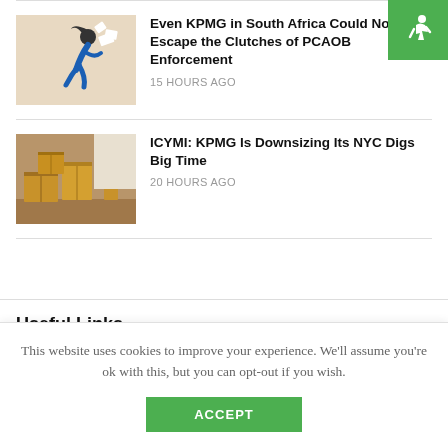[Figure (logo): Green badge with white accessibility/running person icon in top right corner]
[Figure (illustration): Illustration of a person running with papers flying, on a beige background]
Even KPMG in South Africa Could Not Escape the Clutches of PCAOB Enforcement
15 HOURS AGO
[Figure (photo): Photo of cardboard moving boxes stacked in a room]
ICYMI: KPMG Is Downsizing Its NYC Digs Big Time
20 HOURS AGO
Useful Links
This website uses cookies to improve your experience. We'll assume you're ok with this, but you can opt-out if you wish.
ACCEPT